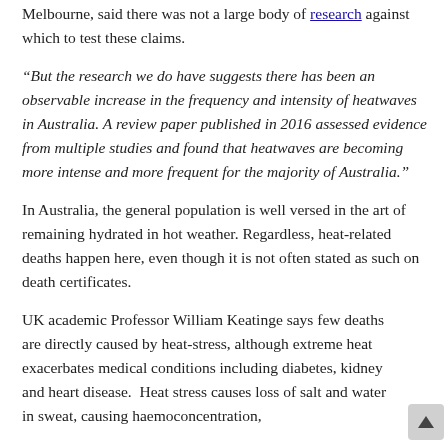Melbourne, said there was not a large body of research against which to test these claims.
“But the research we do have suggests there has been an observable increase in the frequency and intensity of heatwaves in Australia. A review paper published in 2016 assessed evidence from multiple studies and found that heatwaves are becoming more intense and more frequent for the majority of Australia.”
In Australia, the general population is well versed in the art of remaining hydrated in hot weather. Regardless, heat-related deaths happen here, even though it is not often stated as such on death certificates.
UK academic Professor William Keatinge says few deaths are directly caused by heat-stress, although extreme heat exacerbates medical conditions including diabetes, kidney and heart disease.  Heat stress causes loss of salt and water in sweat, causing haemoconcentration,